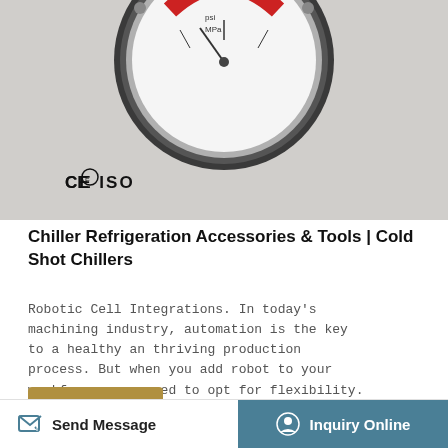[Figure (photo): Close-up photo of a pressure gauge with CE and ISO certification marks visible at the bottom left. The gauge face shows psi and MPa scales with a red indicator zone.]
Chiller Refrigeration Accessories & Tools | Cold Shot Chillers
Robotic Cell Integrations. In today's machining industry, automation is the key to a healthy and thriving production process. But when you add a robot to your workforce, you need to opt for flexibility. Long-term profitability requires a system that's so flexible it meets your needs of both today and years into the future.
Learn More
Send Message    Inquiry Online